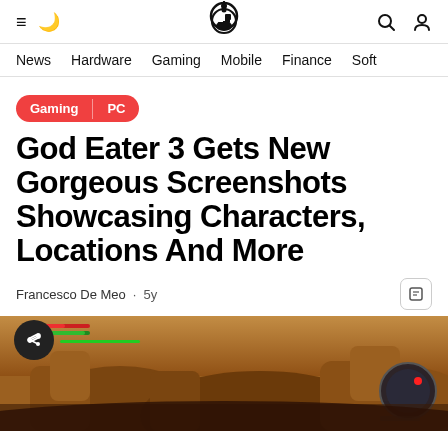Navigation bar with logo, hamburger menu, moon icon, search and user icons
News  Hardware  Gaming  Mobile  Finance  Soft
Gaming | PC
God Eater 3 Gets New Gorgeous Screenshots Showcasing Characters, Locations And More
Francesco De Meo · 5y
[Figure (screenshot): God Eater 3 in-game screenshot showing a rocky desert environment with game HUD elements including health/stamina bars and minimap]